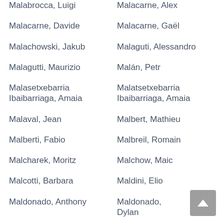Malabrocca, Luigi
Malacarne, Alex
Malacarne, Davide
Malacarne, Gaël
Malachowski, Jakub
Malaguti, Alessandro
Malagutti, Maurizio
Malán, Petr
Malasetxebarria Ibaibarriaga, Amaia
Malatsetxebarria Ibaibarriaga, Amaia
Malaval, Jean
Malbert, Mathieu
Malberti, Fabio
Malbreil, Romain
Malcharek, Moritz
Malchow, Maic
Malcotti, Barbara
Maldini, Elio
Maldonado, Anthony
Maldonado, Dylan
Maldonado Cano, Luis
Maldonado Rayas,